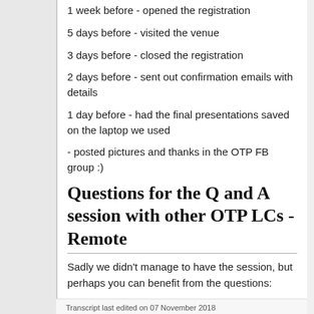1 week before - opened the registration
5 days before - visited the venue
3 days before - closed the registration
2 days before - sent out confirmation emails with details
1 day before - had the final presentations saved on the laptop we used
- posted pictures and thanks in the OTP FB group :)
Questions for the Q and A session with other OTP LCs - Remote
Sadly we didn't manage to have the session, but perhaps you can benefit from the questions:
Transcript last edited on 07 November 2018